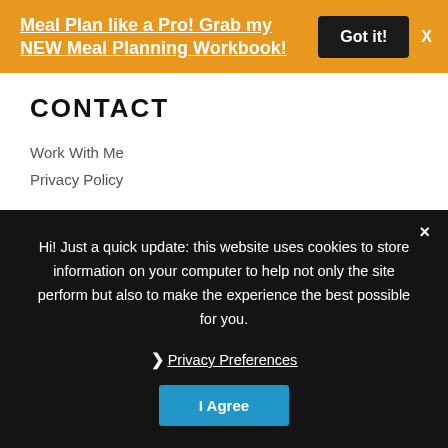Meal Plan like a Pro! Grab my NEW Meal Planning Workbook!
Got it!
X
CONTACT
Work With Me
Privacy Policy
×
Hi! Just a quick update: this website uses cookies to store information on your computer to help not only the site perform but also to make the experience the best possible for you.
❯ Privacy Preferences
I Agree